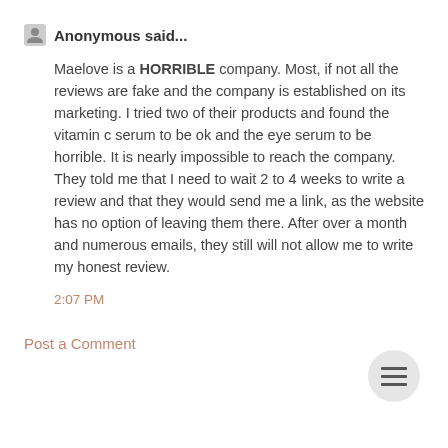Anonymous said...
Maelove is a HORRIBLE company. Most, if not all the reviews are fake and the company is established on its marketing. I tried two of their products and found the vitamin c serum to be ok and the eye serum to be horrible. It is nearly impossible to reach the company. They told me that I need to wait 2 to 4 weeks to write a review and that they would send me a link, as the website has no option of leaving them there. After over a month and numerous emails, they still will not allow me to write my honest review.
2:07 PM
Post a Comment